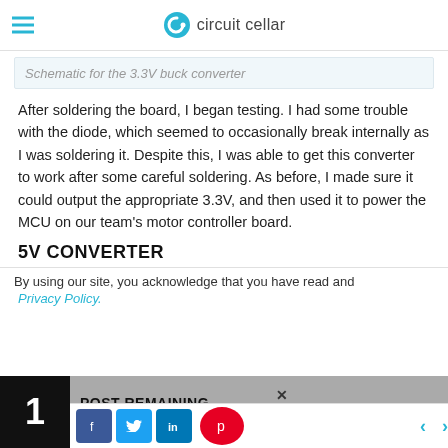circuit cellar
Schematic for the 3.3V buck converter
After soldering the board, I began testing. I had some trouble with the diode, which seemed to occasionally break internally as I was soldering it. Despite this, I was able to get this converter to work after some careful soldering. As before, I made sure it could output the appropriate 3.3V, and then used it to power the MCU on our team's motor controller board.
5V CONVERTER
By using our site, you acknowledge that you have read and
Privacy Policy.
1 POST REMAINING
SUBSCRIBE | LOGIN